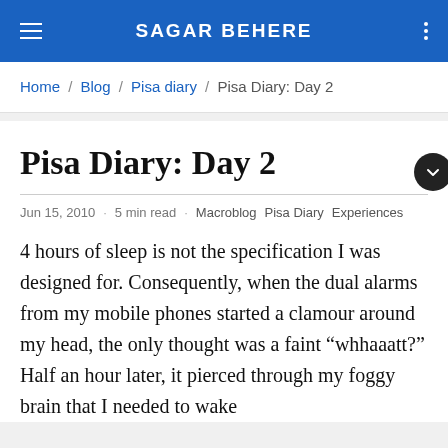SAGAR BEHERE
Home / Blog / Pisa diary / Pisa Diary: Day 2
Pisa Diary: Day 2
Jun 15, 2010 · 5 min read · Macroblog  Pisa Diary  Experiences
4 hours of sleep is not the specification I was designed for. Consequently, when the dual alarms from my mobile phones started a clamour around my head, the only thought was a faint “whhaaatt?” Half an hour later, it pierced through my foggy brain that I needed to wake